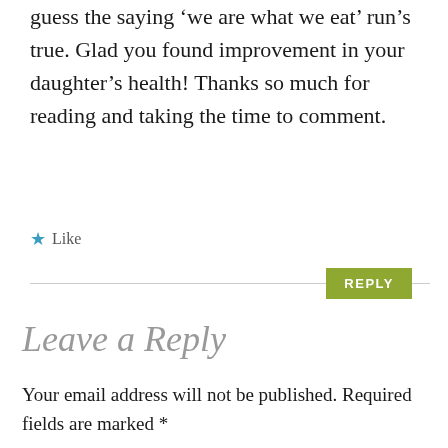guess the saying ‘we are what we eat’ run’s true. Glad you found improvement in your daughter’s health! Thanks so much for reading and taking the time to comment.
★ Like
REPLY
Leave a Reply
Your email address will not be published. Required fields are marked *